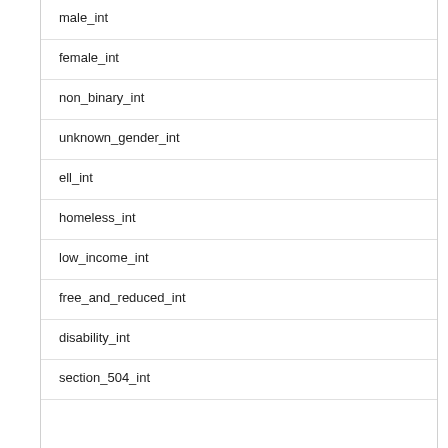male_int
female_int
non_binary_int
unknown_gender_int
ell_int
homeless_int
low_income_int
free_and_reduced_int
disability_int
section_504_int